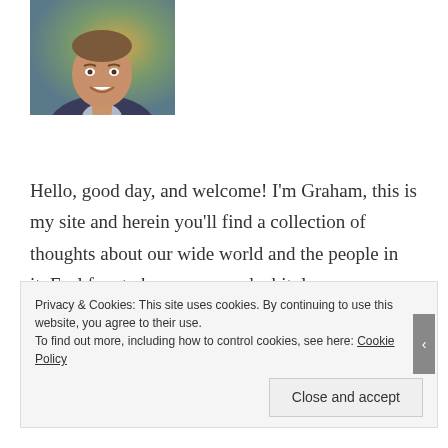[Figure (photo): Headshot of a smiling man in a suit jacket, with a blurred background of greenery and warm lights.]
Hello, good day, and welcome! I'm Graham, this is my site and herein you'll find a collection of thoughts about our wide world and the people in it. Feel free to browse around a bit, leave a comment and let me know what you're thinking. Scribo, ergo sum.
Privacy & Cookies: This site uses cookies. By continuing to use this website, you agree to their use.
To find out more, including how to control cookies, see here: Cookie Policy
Close and accept